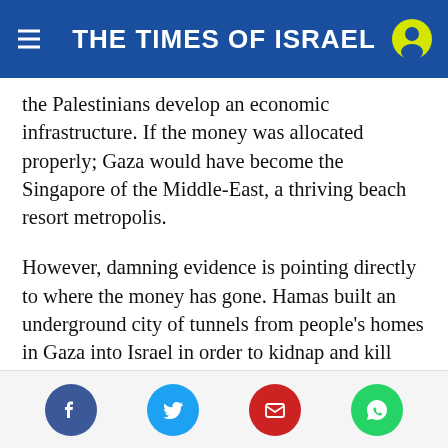THE TIMES OF ISRAEL
the Palestinians develop an economic infrastructure. If the money was allocated properly; Gaza would have become the Singapore of the Middle-East, a thriving beach resort metropolis.
However, damning evidence is pointing directly to where the money has gone. Hamas built an underground city of tunnels from people's homes in Gaza into Israel in order to kidnap and kill Israelis. Perhaps if they were so fearful of Israeli aggression, they might have thought to build bomb shelters for the Palestinian people they supposedly represent, instead of tunnels for terror. Clearly,
Social share icons: Facebook, Twitter, Email, WhatsApp